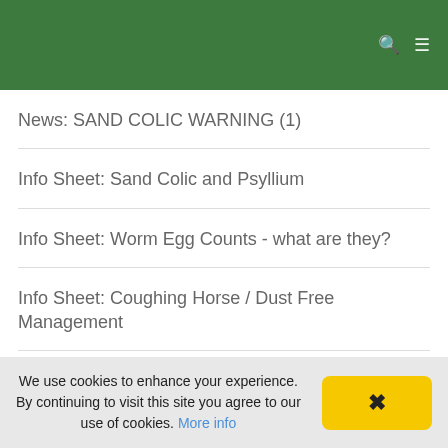News: SAND COLIC WARNING (1)
Info Sheet: Sand Colic and Psyllium
Info Sheet: Worm Egg Counts - what are they?
Info Sheet: Coughing Horse / Dust Free Management
News: SO MANY COLICS THIS
We use cookies to enhance your experience. By continuing to visit this site you agree to our use of cookies. More info